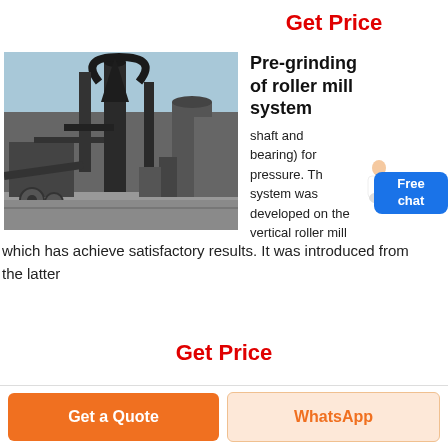Get Price
[Figure (photo): Industrial roller mill / pre-grinding system facility with large dark cylindrical towers, pipes, conveyors, and machinery components outdoors under a blue sky.]
Pre-grinding of roller mill system
shaft and bearing) for pressure. The system was developed on the vertical roller mill
which has achieve satisfactory results. It was introduced from the latter
Get Price
Get a Quote
WhatsApp